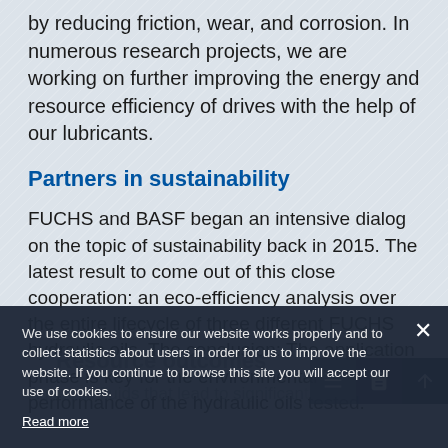by reducing friction, wear, and corrosion. In numerous research projects, we are working on further improving the energy and resource efficiency of drives with the help of our lubricants.
Partners in sustainability
FUCHS and BASF began an intensive dialog on the topic of sustainability back in 2015. The latest result to come out of this close cooperation: an eco-efficiency analysis over the entire lifecycle of three different FUCHS hydraulic oils. The conclusion: The application phase is key for the environmental performance of the hydraulic oils tested.
We use cookies to ensure our website works properly and to collect statistics about users in order for us to improve the website. If you continue to browse this site you will accept our use of cookies.
Read more
Resource outcomes
Aqueous fluids that lead to significant...